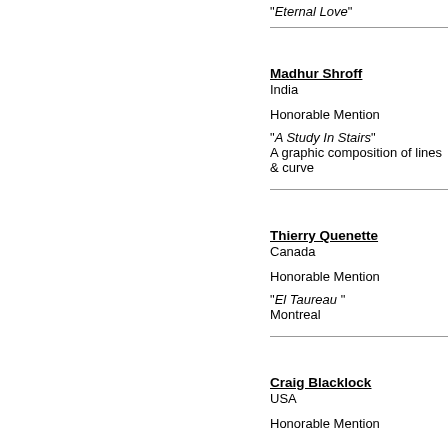"Eternal Love"
Madhur Shroff
India

Honorable Mention

"A Study In Stairs"
A graphic composition of lines & curve
Thierry Quenette
Canada

Honorable Mention

"El Taureau "
Montreal
Craig Blacklock
USA

Honorable Mention